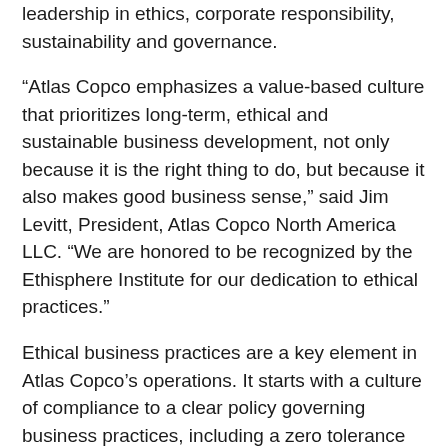leadership in ethics, corporate responsibility, sustainability and governance.
“Atlas Copco emphasizes a value-based culture that prioritizes long-term, ethical and sustainable business development, not only because it is the right thing to do, but because it also makes good business sense,” said Jim Levitt, President, Atlas Copco North America LLC. “We are honored to be recognized by the Ethisphere Institute for our dedication to ethical practices.”
Ethical business practices are a key element in Atlas Copco’s operations. It starts with a culture of compliance to a clear policy governing business practices, including a zero tolerance policy against corruption, a comprehensive education program for employees and an extensive evaluation of the company’s suppliers and their safety, health and environmental practices. Atlas Copco also